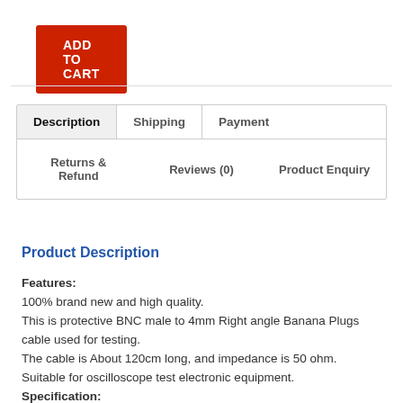[Figure (other): ADD TO CART button (red background, white bold text)]
Description | Shipping | Payment | Returns & Refund | Reviews (0) | Product Enquiry
Product Description
Features:
100% brand new and high quality.
This is protective BNC male to 4mm Right angle Banana Plugs cable used for testing.
The cable is About 120cm long, and impedance is 50 ohm.
Suitable for oscilloscope test electronic equipment.
Specification:
Type: RG58 Coaxial Cable
Convert From: BNC Male
Convert To: Right angle Banana Plugs